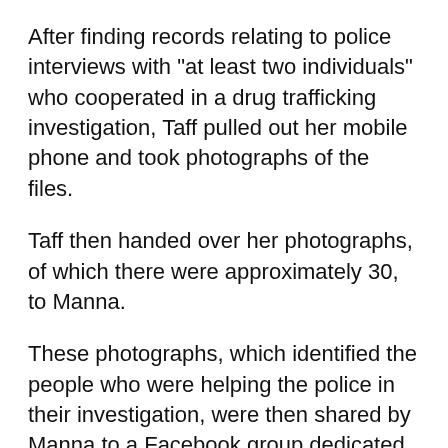After finding records relating to police interviews with "at least two individuals" who cooperated in a drug trafficking investigation, Taff pulled out her mobile phone and took photographs of the files.
Taff then handed over her photographs, of which there were approximately 30, to Manna.
These photographs, which identified the people who were helping the police in their investigation, were then shared by Manna to a Facebook group dedicated to "outing snitches" in the Des Moines region.
Individuals labeled as snitches by cooperating with